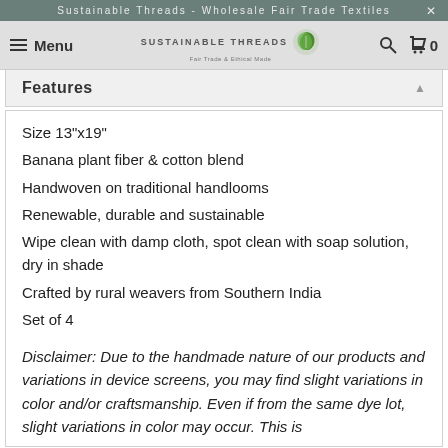Sustainable Threads - Wholesale Fair Trade Textiles
Features
Size 13"x19"
Banana plant fiber & cotton blend
Handwoven on traditional handlooms
Renewable, durable and sustainable
Wipe clean with damp cloth, spot clean with soap solution, dry in shade
Crafted by rural weavers from Southern India
Set of 4
Disclaimer: Due to the handmade nature of our products and variations in device screens, you may find slight variations in color and/or craftsmanship. Even if from the same dye lot, slight variations in color may occur. This is